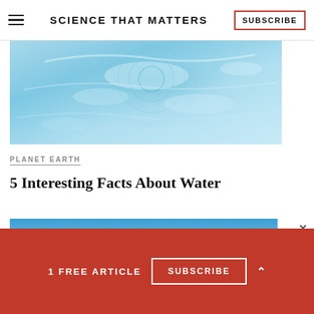SCIENCE THAT MATTERS
[Figure (photo): Aerial view of rippling blue water surface with circular ripples]
PLANET EARTH
5 Interesting Facts About Water
[Figure (photo): Partial view of blue sky with clouds, partially visible advertisement]
1 FREE ARTICLE
SUBSCRIBE